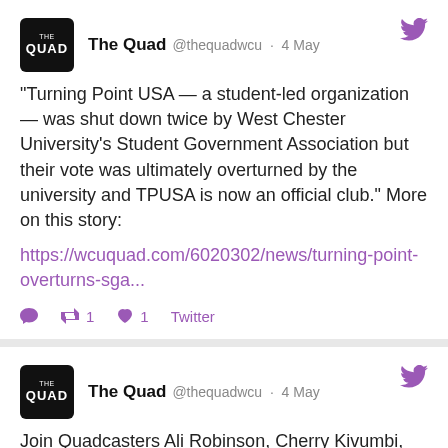The Quad @thequadwcu · 4 May
"Turning Point USA — a student-led organization — was shut down twice by West Chester University's Student Government Association but their vote was ultimately overturned by the university and TPUSA is now an official club." More on this story: https://wcuquad.com/6020302/news/turning-point-overturns-sga...
Retweet 1 Like 1 Twitter
The Quad @thequadwcu · 4 May
Join Quadcasters Ali Robinson, Cherry Kivumbi, and Sean Wattman as they talk all about finals week, their experiences with it! Episode link: